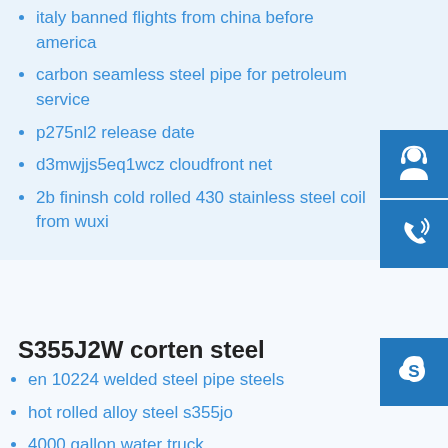italy banned flights from china before america
carbon seamless steel pipe for petroleum service
p275nl2 release date
d3mwjjs5eq1wcz cloudfront net
2b fininsh cold rolled 430 stainless steel coil from wuxi
[Figure (illustration): Blue square icon with white customer support headset/person silhouette]
[Figure (illustration): Blue square icon with white phone/signal waves]
[Figure (illustration): Blue square icon with white Skype logo]
S355J2W corten steel
en 10224 welded steel pipe steels
hot rolled alloy steel s355jo
4000 gallon water truck
teflon 12 sheet 321304 430 slit mill cheap sheet